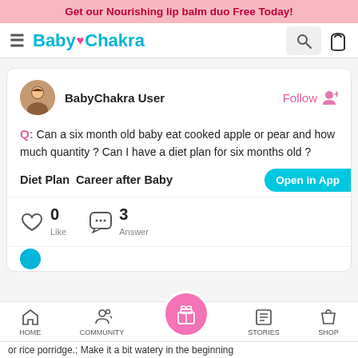Get our Nourishing lip balm duo Free Today!
[Figure (logo): BabyChakra logo with heart icon, hamburger menu, search box and bag icon]
BabyChakra User
Follow +
Q: Can a six month old baby eat cooked apple or pear and how much quantity ? Can I have a diet plan for six months old ?
Diet Plan  Career after Baby
Open in App
0 Like   3 Answer
HOME  COMMUNITY  STORIES  SHOP
or rice porridge.; Make it a bit watery in the beginning